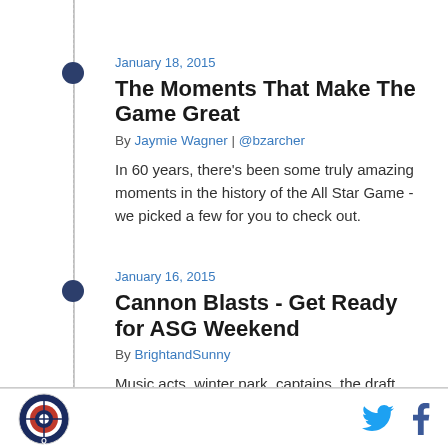January 18, 2015
The Moments That Make The Game Great
By Jaymie Wagner | @bzarcher
In 60 years, there's been some truly amazing moments in the history of the All Star Game - we picked a few for you to check out.
January 16, 2015
Cannon Blasts - Get Ready for ASG Weekend
By BrightandSunny
Music acts, winter park, captains, the draft, and even an update from JD on Nathan Horton